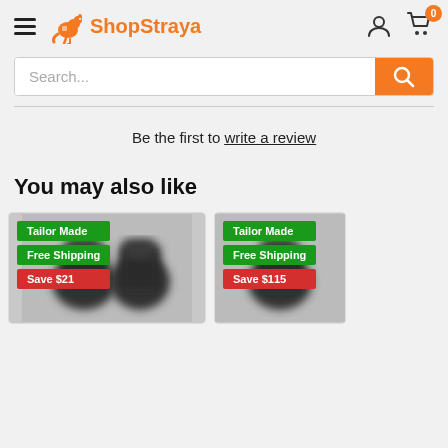ShopStraya – navigation header with hamburger menu, logo, account icon, and cart (0)
Search...
Be the first to write a review
You may also like
[Figure (photo): Product card 1: car seat covers with badges Tailor Made, Free Shipping, Save $21]
[Figure (photo): Product card 2 (partially visible): car seat covers with badges Tailor Made, Free Shipping, Save $115]